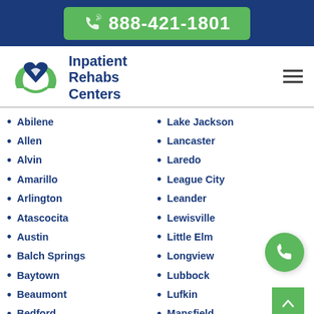888-421-1801
Inpatient Rehabs Centers
Abilene
Allen
Alvin
Amarillo
Arlington
Atascocita
Austin
Balch Springs
Baytown
Beaumont
Bedford
Big Spring
Brownsville
Lake Jackson
Lancaster
Laredo
League City
Leander
Lewisville
Little Elm
Longview
Lubbock
Lufkin
Mansfield
McAllen
McKinney